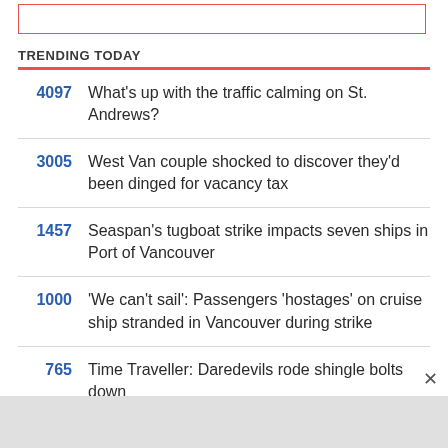TRENDING TODAY
4097  What's up with the traffic calming on St. Andrews?
3005  West Van couple shocked to discover they'd been dinged for vacancy tax
1457  Seaspan's tugboat strike impacts seven ships in Port of Vancouver
1000  'We can't sail': Passengers 'hostages' on cruise ship stranded in Vancouver during strike
765  Time Traveller: Daredevils rode shingle bolts down...